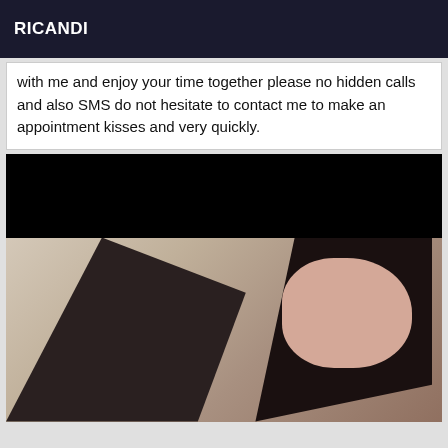RICANDI
with me and enjoy your time together please no hidden calls and also SMS do not hesitate to contact me to make an appointment kisses and very quickly.
[Figure (photo): A photo of a young woman with dark hair posing on a bed. The upper portion of the image is blacked out.]